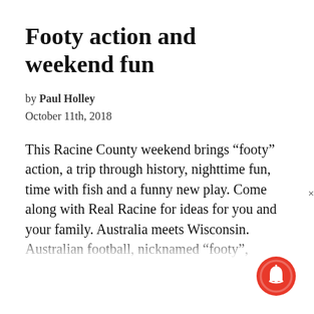Footy action and weekend fun
by Paul Holley
October 11th, 2018
This Racine County weekend brings “footy” action, a trip through history, nighttime fun, time with fish and a funny new play. Come along with Real Racine for ideas for you and your family. Australia meets Wisconsin. Australian football, nicknamed “footy”,